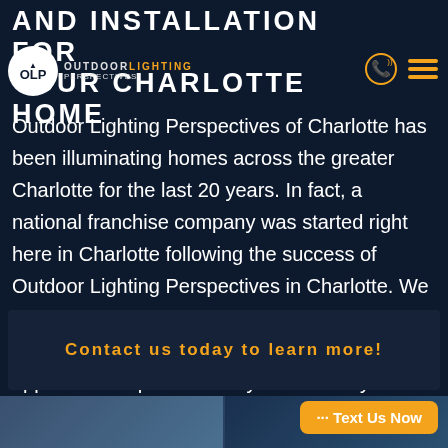AND INSTALLATION FOR YOUR CHARLOTTE HOME
[Figure (logo): OLP Outdoor Lighting Perspectives logo in white circle, with phone icon and hamburger menu icon in orange]
Outdoor Lighting Perspectives of Charlotte has been illuminating homes across the greater Charlotte for the last 20 years. In fact, a national franchise company was started right here in Charlotte following the success of Outdoor Lighting Perspectives in Charlotte. We want to bring your home's façade to life at night. Exterior outdoor lighting adds visual appeal and improves safety and security.
Contact us today to learn more!
··· Text Us Now